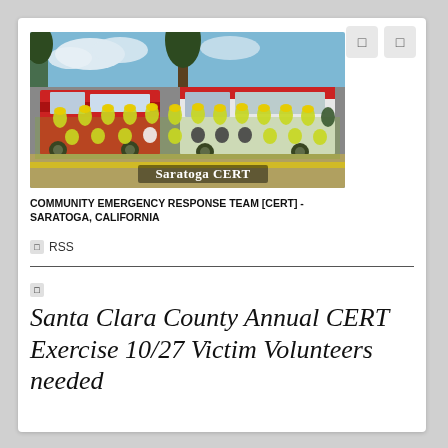[Figure (photo): Group photo of Saratoga CERT volunteers wearing yellow safety vests and hard hats, standing in front of fire trucks. Text overlay reads 'Saratoga CERT'.]
COMMUNITY EMERGENCY RESPONSE TEAM [CERT] - SARATOGA, CALIFORNIA
RSS
Santa Clara County Annual CERT Exercise 10/27 Victim Volunteers needed